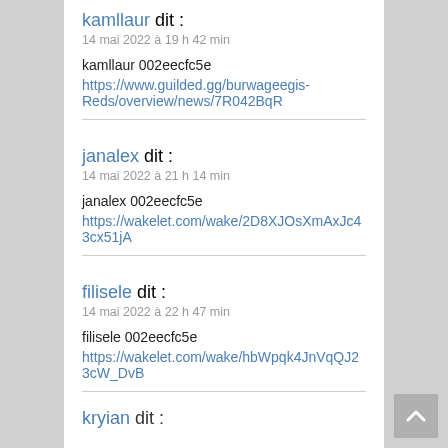kamllaur dit :
14 mai 2022 à 19 h 42 min
kamllaur 002eecfc5e
https://www.guilded.gg/burwageegis-Reds/overview/news/7R042BqR
janalex dit :
14 mai 2022 à 21 h 14 min
janalex 002eecfc5e
https://wakelet.com/wake/2D8XJOsXmAxJc43cx51jA
filisele dit :
14 mai 2022 à 22 h 47 min
filisele 002eecfc5e
https://wakelet.com/wake/hbWpqk4JnVqQJ23cW_DvB
kryian dit :